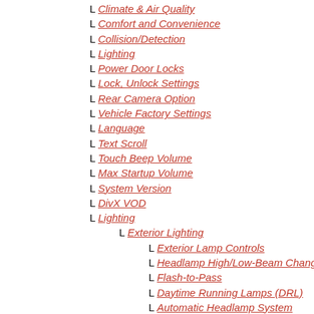L Climate & Air Quality
L Comfort and Convenience
L Collision/Detection
L Lighting
L Power Door Locks
L Lock, Unlock Settings
L Rear Camera Option
L Vehicle Factory Settings
L Language
L Text Scroll
L Touch Beep Volume
L Max Startup Volume
L System Version
L DivX VOD
L Lighting
L Exterior Lighting
L Exterior Lamp Controls
L Headlamp High/Low-Beam Changer
L Flash-to-Pass
L Daytime Running Lamps (DRL)
L Automatic Headlamp System
L Hazard Warning Flashers
L Turn and Lane-Change Signals
L Fog Lamps
L Interior Lighting